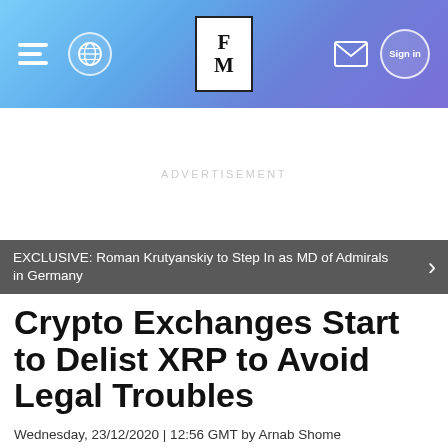FM — Finance Magnates header navigation
ADVERTISEMENT
EXCLUSIVE: Roman Krutyanskiy to Step In as MD of Admirals in Germany
Crypto Exchanges Start to Delist XRP to Avoid Legal Troubles
Wednesday, 23/12/2020 | 12:56 GMT by Arnab Shome
As of now, three exchanges confirmed the delisting of XRP.